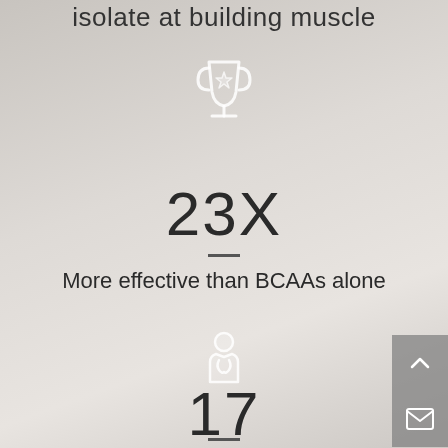isolate at building muscle
[Figure (illustration): Trophy/award cup icon with star, white outline style]
23X
More effective than BCAAs alone
[Figure (illustration): Doctor/medical professional icon, white outline style]
17